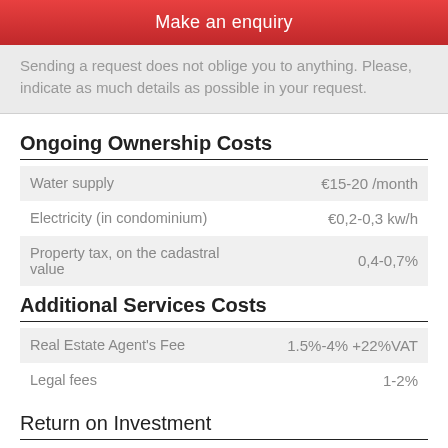Make an enquiry
Sending a request does not oblige you to anything. Please, indicate as much details as possible in your request.
Ongoing Ownership Costs
|  |  |
| --- | --- |
| Water supply | €15-20 /month |
| Electricity (in condominium) | €0,2-0,3 kw/h |
| Property tax, on the cadastral value | 0,4-0,7% |
Additional Services Costs
|  |  |
| --- | --- |
| Real Estate Agent's Fee | 1.5%-4% +22%VAT |
| Legal fees | 1-2% |
Return on Investment
Property Price